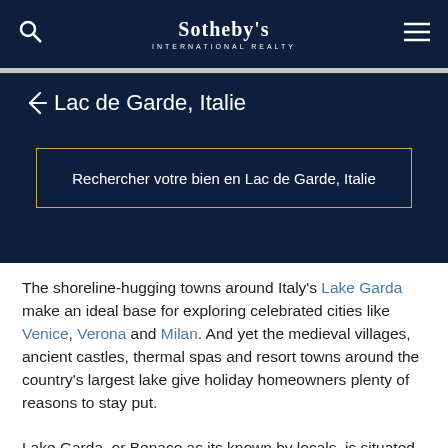Sotheby's International Realty
Lac de Garde, Italie
Rechercher votre bien en Lac de Garde, Italie
The shoreline-hugging towns around Italy's Lake Garda make an ideal base for exploring celebrated cities like Venice, Verona and Milan. And yet the medieval villages, ancient castles, thermal spas and resort towns around the country's largest lake give holiday homeowners plenty of reasons to stay put.
Lake Garda, or Benaco as its known by locals, is situated in the middle of three administrative regions, Lombardy, Vento and Trentino Alto-Adige, and bordered by three provinces including the famous Brescia. The vi...